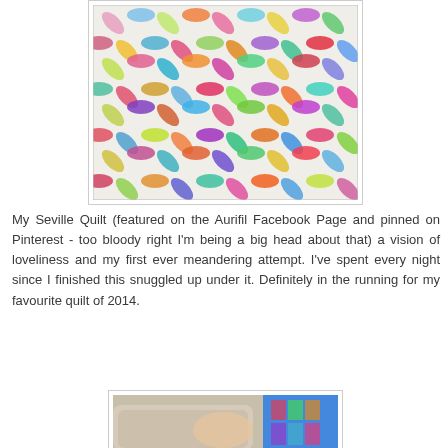[Figure (photo): A colorful patchwork quilt with a Seville double wedding ring pattern featuring many bright colored fabric pieces on a white background, photographed from above.]
My Seville Quilt (featured on the Aurifil Facebook Page and pinned on Pinterest - too bloody right I'm being a big head about that) a vision of loveliness and my first ever meandering attempt. I've spent every night since I finished this snuggled up under it. Definitely in the running for my favourite quilt of 2014.
[Figure (photo): Partial view of a person sitting on a couch holding or displaying a colorful quilt.]